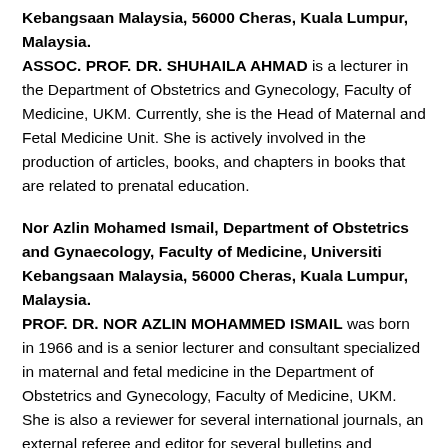Kebangsaan Malaysia, 56000 Cheras, Kuala Lumpur, Malaysia.
ASSOC. PROF. DR. SHUHAILA AHMAD is a lecturer in the Department of Obstetrics and Gynecology, Faculty of Medicine, UKM. Currently, she is the Head of Maternal and Fetal Medicine Unit. She is actively involved in the production of articles, books, and chapters in books that are related to prenatal education.
Nor Azlin Mohamed Ismail, Department of Obstetrics and Gynaecology, Faculty of Medicine, Universiti Kebangsaan Malaysia, 56000 Cheras, Kuala Lumpur, Malaysia.
PROF. DR. NOR AZLIN MOHAMMED ISMAIL was born in 1966 and is a senior lecturer and consultant specialized in maternal and fetal medicine in the Department of Obstetrics and Gynecology, Faculty of Medicine, UKM. She is also a reviewer for several international journals, an external referee and editor for several bulletins and journals such as the